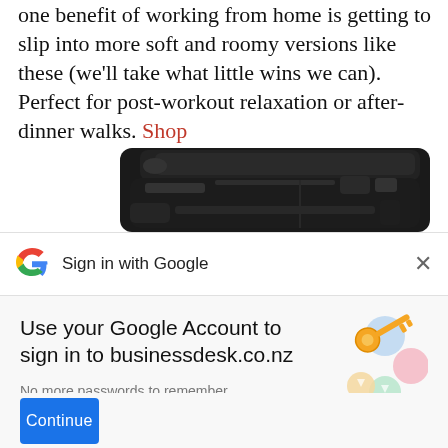one benefit of working from home is getting to slip into more soft and roomy versions like these (we'll take what little wins we can). Perfect for post-workout relaxation or after-dinner walks. Shop
[Figure (photo): A black backpack partially visible at the bottom of the content area]
Sign in with Google
Use your Google Account to sign in to businessdesk.co.nz
No more passwords to remember. Signing in is fast, simple and secure.
[Figure (illustration): Google sign-in illustration with a golden key and colorful circles]
Continue